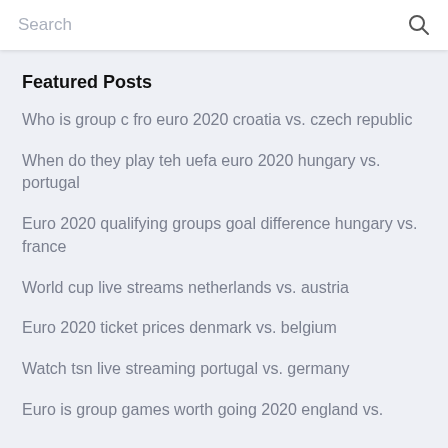Search
Featured Posts
Who is group c fro euro 2020 croatia vs. czech republic
When do they play teh uefa euro 2020 hungary vs. portugal
Euro 2020 qualifying groups goal difference hungary vs. france
World cup live streams netherlands vs. austria
Euro 2020 ticket prices denmark vs. belgium
Watch tsn live streaming portugal vs. germany
Euro is group games worth going 2020 england vs.